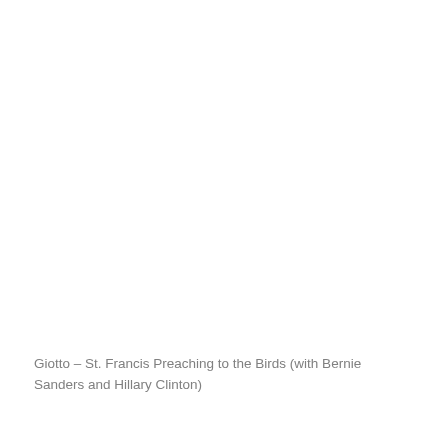Giotto – St. Francis Preaching to the Birds (with Bernie Sanders and Hillary Clinton)